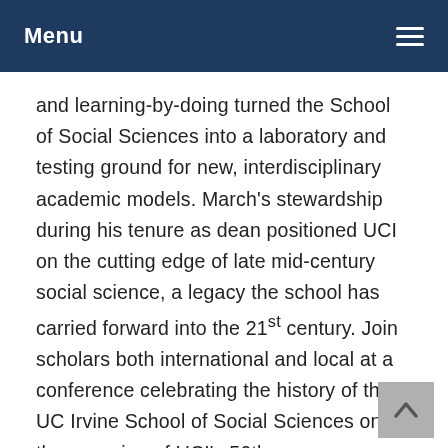Menu
and learning-by-doing turned the School of Social Sciences into a laboratory and testing ground for new, interdisciplinary academic models. March's stewardship during his tenure as dean positioned UCI on the cutting edge of late mid-century social science, a legacy the school has carried forward into the 21st century. Join scholars both international and local at a conference celebrating the history of the UC Irvine School of Social Sciences on the occasion of UCI's 50th